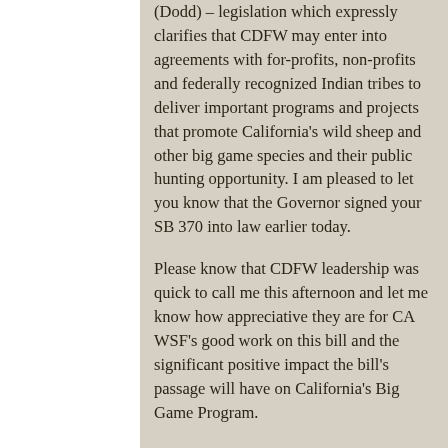(Dodd) – legislation which expressly clarifies that CDFW may enter into agreements with for-profits, non-profits and federally recognized Indian tribes to deliver important programs and projects that promote California's wild sheep and other big game species and their public hunting opportunity.  I am pleased to let you know that the Governor signed your SB 370 into law earlier today.
Please know that CDFW leadership was quick to call me this afternoon and let me know how appreciative they are for CA WSF's good work on this bill and the significant positive impact the bill's passage will have on California's Big Game Program.
Bill Gaines, Principal